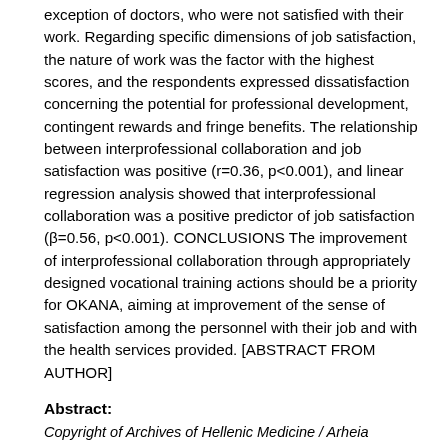exception of doctors, who were not satisfied with their work. Regarding specific dimensions of job satisfaction, the nature of work was the factor with the highest scores, and the respondents expressed dissatisfaction concerning the potential for professional development, contingent rewards and fringe benefits. The relationship between interprofessional collaboration and job satisfaction was positive (r=0.36, p<0.001), and linear regression analysis showed that interprofessional collaboration was a positive predictor of job satisfaction (β=0.56, p<0.001). CONCLUSIONS The improvement of interprofessional collaboration through appropriately designed vocational training actions should be a priority for OKANA, aiming at improvement of the sense of satisfaction among the personnel with their job and with the health services provided. [ABSTRACT FROM AUTHOR]
Abstract:
Copyright of Archives of Hellenic Medicine / Arheia